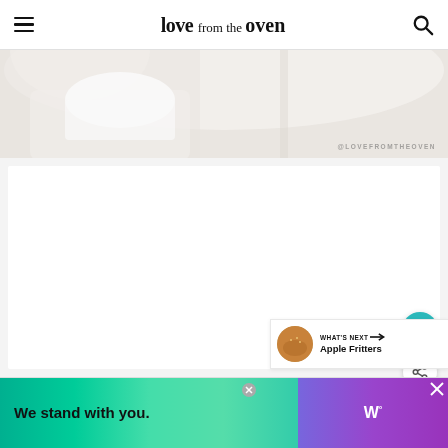love from the oven
[Figure (photo): Partial view of a person's hands/upper body in a light setting with watermark text @LOVEFROMTHEOVEN]
[Figure (photo): Large light gray content area with teal heart favorite button and white share button on right side, plus 'What's Next' Apple Fritters promo panel]
[Figure (other): Advertisement banner: 'We stand with you.' on green/teal gradient background on left, purple gradient on right with close buttons]